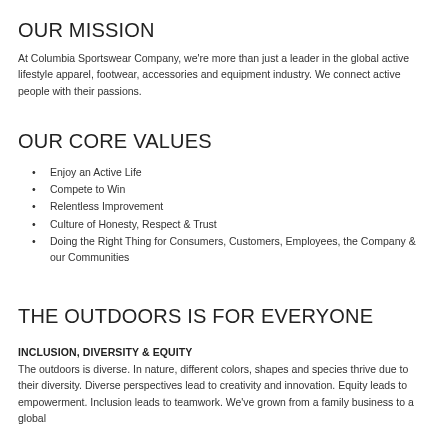OUR MISSION
At Columbia Sportswear Company, we're more than just a leader in the global active lifestyle apparel, footwear, accessories and equipment industry. We connect active people with their passions.
OUR CORE VALUES
Enjoy an Active Life
Compete to Win
Relentless Improvement
Culture of Honesty, Respect & Trust
Doing the Right Thing for Consumers, Customers, Employees, the Company & our Communities
THE OUTDOORS IS FOR EVERYONE
INCLUSION, DIVERSITY & EQUITY
The outdoors is diverse. In nature, different colors, shapes and species thrive due to their diversity. Diverse perspectives lead to creativity and innovation. Equity leads to empowerment. Inclusion leads to teamwork. We've grown from a family business to a global